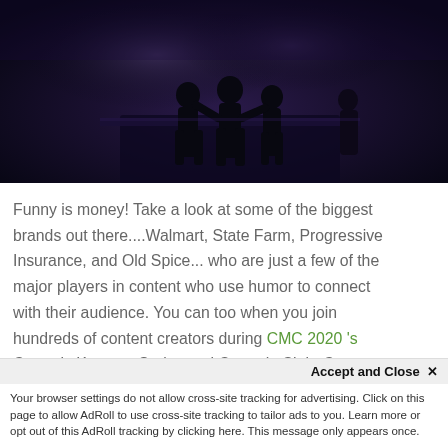[Figure (photo): Dark stage photo showing silhouetted figures on stage at what appears to be a conference or comedy event, dark blue/purple tones]
Funny is money! Take a look at some of the biggest brands out there....Walmart, State Farm, Progressive Insurance, and Old Spice... who are just a few of the major players in content who use humor to connect with their audience. You can too when you join hundreds of content creators during CMC 2020 's Comedy Keynote Series and Comedy Club. Content Marketing Conference is steps ahead of other conferences by inviting some
of other conferences by inviting some
Accept and Close ×
Your browser settings do not allow cross-site tracking for advertising. Click on this page to allow AdRoll to use cross-site tracking to tailor ads to you. Learn more or opt out of this AdRoll tracking by clicking here. This message only appears once.